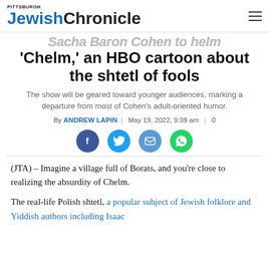PITTSBURGH JewishChronicle
'Chelm,' an HBO cartoon about the shtetl of fools
The show will be geared toward younger audiences, marking a departure from most of Cohen's adult-oriented humor.
By ANDREW LAPIN | May 19, 2022, 9:39 am | 0
[Figure (infographic): Four social sharing buttons: Facebook (dark blue circle with f icon), Twitter (light blue circle with bird icon), Email (medium blue circle with envelope icon), WhatsApp (green circle with phone icon)]
(JTA) – Imagine a village full of Borats, and you're close to realizing the absurdity of Chelm.
The real-life Polish shtetl, a popular subject of Jewish folklore and Yiddish authors including Isaac